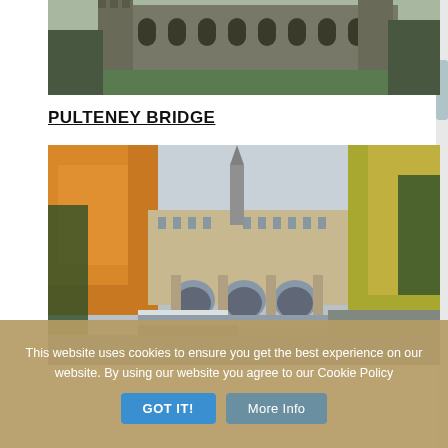[Figure (photo): Partial view of a Gothic cathedral or abbey with green lawn in foreground, grey stone facade with arched windows and towers]
PULTENEY BRIDGE
[Figure (photo): Pulteney Bridge in Bath, England, photographed in autumn. The bridge with its arches spans a river, surrounded by trees with orange and yellow autumn foliage. A church spire is visible in the background.]
This website uses cookies to ensure you get the best experience on our website. By using our website you agree to our Cookie Policy